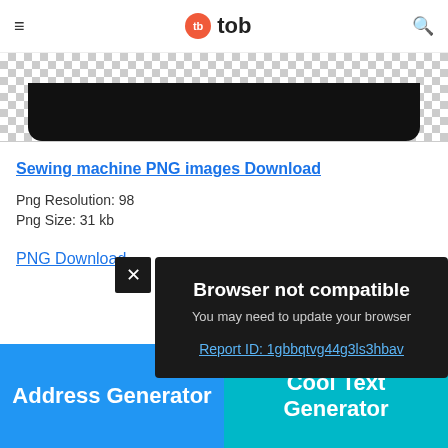tb tob
[Figure (screenshot): Partial screenshot of a PNG image preview showing a black curved shape on a checkered (transparent) background]
Sewing machine PNG images Download
Png Resolution: 98
Png Size: 31 kb
PNG Download
[Figure (screenshot): Browser not compatible modal dialog. Text: 'Browser not compatible', 'You may need to update your browser', 'Report ID: 1gbbqtvg44g3ls3hbav']
Powered by GliaStudio
•
Address Generator
Cool Text Generator